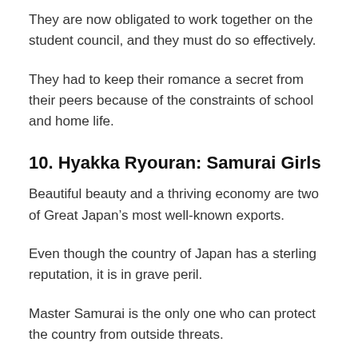They are now obligated to work together on the student council, and they must do so effectively.
They had to keep their romance a secret from their peers because of the constraints of school and home life.
10. Hyakka Ryouran: Samurai Girls
Beautiful beauty and a thriving economy are two of Great Japan’s most well-known exports.
Even though the country of Japan has a sterling reputation, it is in grave peril.
Master Samurai is the only one who can protect the country from outside threats.
Warrior children are also educated at the Buou Academic School, which is overseen by Yoshihiko and his wife Sen, the head of the student council.